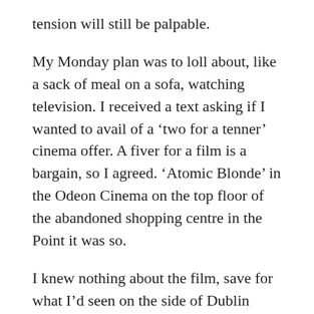tension will still be palpable.
My Monday plan was to loll about, like a sack of meal on a sofa, watching television. I received a text asking if I wanted to avail of a 'two for a tenner' cinema offer. A fiver for a film is a bargain, so I agreed. 'Atomic Blonde' in the Odeon Cinema on the top floor of the abandoned shopping centre in the Point it was so.
I knew nothing about the film, save for what I'd seen on the side of Dublin buses. Therefore I knew that Charlize Theron was glammed up and carried a gun.
Charlize Theron is a decent actress.  The films 'Mad Max: Fury Road' and 'The Cider House Rules' were enjoyable. Her performance in 'Monster' in 2003 was impressive (although I suspect that it was the weight gain and make-up which probably tipped the Oscar in her direction, as our Charlize didn't hold a patch to Naomi Watts in '21 Grams' that year)